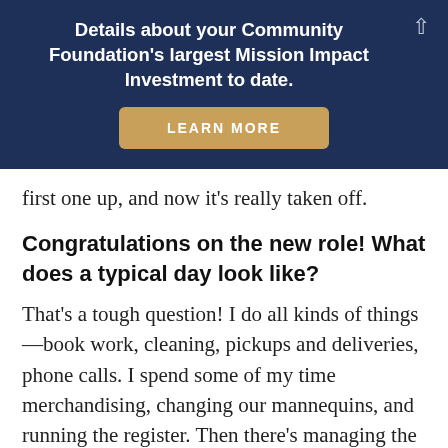Details about your Community Foundation's largest Mission Impact Investment to date.
[Figure (other): Gold rounded button labeled LEARN MORE on dark navy background banner]
first one up, and now it's really taken off.
Congratulations on the new role! What does a typical day look like?
That's a tough question! I do all kinds of things—book work, cleaning, pickups and deliveries, phone calls. I spend some of my time merchandising, changing our mannequins, and running the register. Then there's managing the